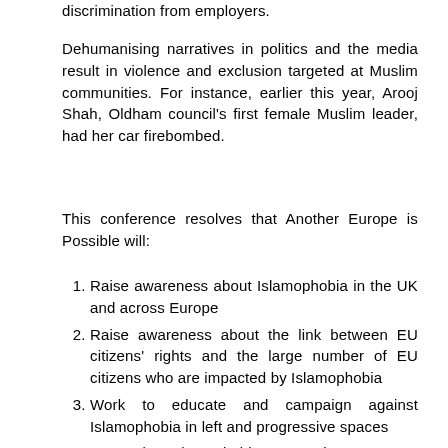discrimination from employers.
Dehumanising narratives in politics and the media result in violence and exclusion targeted at Muslim communities. For instance, earlier this year, Arooj Shah, Oldham council's first female Muslim leader, had her car firebombed.
This conference resolves that Another Europe is Possible will:
Raise awareness about Islamophobia in the UK and across Europe
Raise awareness about the link between EU citizens' rights and the large number of EU citizens who are impacted by Islamophobia
Work to educate and campaign against Islamophobia in left and progressive spaces
Recognise Islamophobia as a unique category that manifests as more than generalised 'racism', while acknowledging the racialising elements of Islamophobia